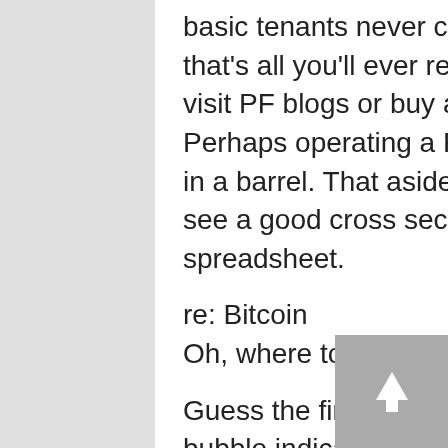basic tenants never change, and if you do it right, that's all you'll ever require (i.e. you won't need to visit PF blogs or buy any affiliated merchandise). Perhaps operating a PF blog is akin to shooting fish in a barrel. That aside, well done, Rx40! Also nice to see a good cross section of life on his “Goal” spreadsheet.
re: Bitcoin
Oh, where to start?!
Guess the first thing to point out is the leading bubble indicator: the know-nothings (“I really don’t understand Bitcoin”) who use an antithetical investment strategy (dividend growth) are now talking about Bitcoin. Even my 73 y.o. uncle is talking about it. But all the talking